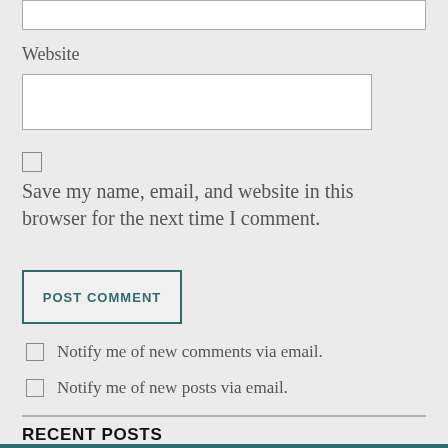Website
Save my name, email, and website in this browser for the next time I comment.
POST COMMENT
Notify me of new comments via email.
Notify me of new posts via email.
RECENT POSTS